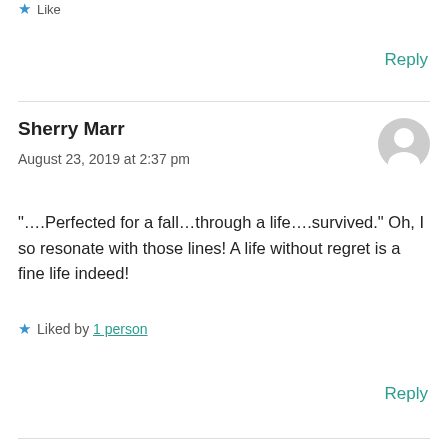Like
Reply
Sherry Marr
August 23, 2019 at 2:37 pm
“….Perfected for a fall…through a life….survived.” Oh, I so resonate with those lines! A life without regret is a fine life indeed!
Liked by 1 person
Reply